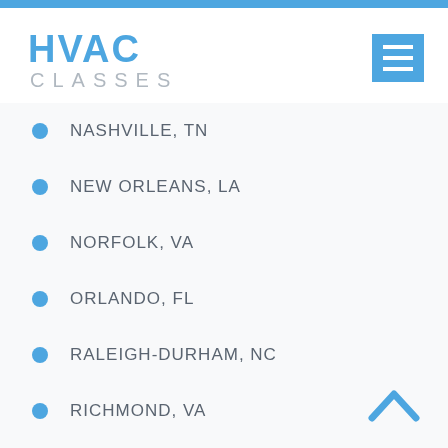HVAC CLASSES
NASHVILLE, TN
NEW ORLEANS, LA
NORFOLK, VA
ORLANDO, FL
RALEIGH-DURHAM, NC
RICHMOND, VA
SIOUX FALLS, SD